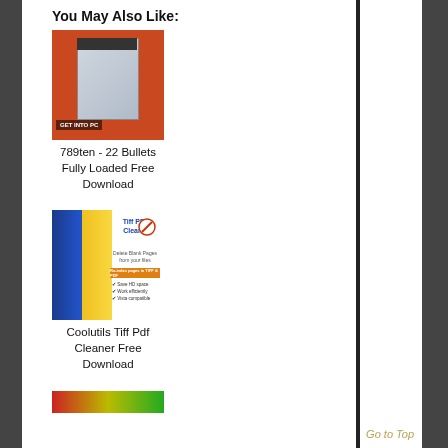You May Also Like:
[Figure (photo): Product box image for 789ten - 22 Bullets Fully Loaded on a red background, with GET INTO PC label at the bottom]
789ten - 22 Bullets Fully Loaded Free Download
[Figure (photo): Coolutils Tiff PDF Cleaner software box with blue, yellow and white sections, showing logo and feature list]
Coolutils Tiff Pdf Cleaner Free Download
[Figure (photo): Partial product image at bottom showing a red-yellow-green gradient bar]
Go to Top